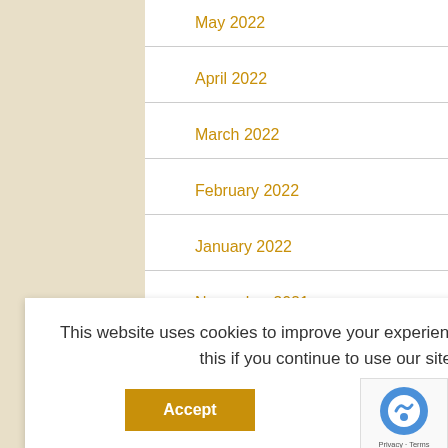May 2022
April 2022
March 2022
February 2022
January 2022
November 2021
This website uses cookies to improve your experience. We'll assume you're ok with this if you continue to use our site. Read More
Accept
Translate »
Ju...